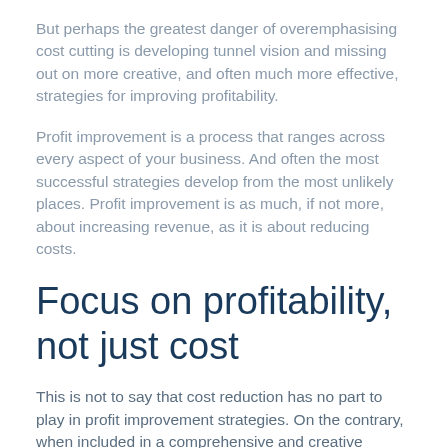But perhaps the greatest danger of overemphasising cost cutting is developing tunnel vision and missing out on more creative, and often much more effective, strategies for improving profitability.
Profit improvement is a process that ranges across every aspect of your business. And often the most successful strategies develop from the most unlikely places. Profit improvement is as much, if not more, about increasing revenue, as it is about reducing costs.
Focus on profitability, not just cost
This is not to say that cost reduction has no part to play in profit improvement strategies. On the contrary, when included in a comprehensive and creative programme it can result in considerable improvements on the bottom line.